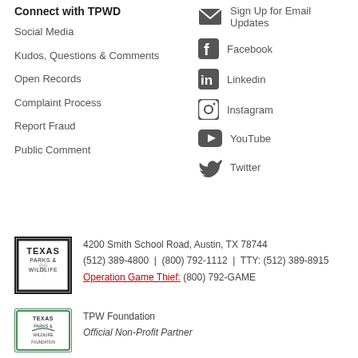Connect with TPWD
Social Media
Kudos, Questions & Comments
Open Records
Complaint Process
Report Fraud
Public Comment
Sign Up for Email Updates
Facebook
Linkedin
Instagram
YouTube
Twitter
4200 Smith School Road, Austin, TX 78744
(512) 389-4800 | (800) 792-1112 | TTY: (512) 389-8915
Operation Game Thief: (800) 792-GAME
TPW Foundation
Official Non-Profit Partner